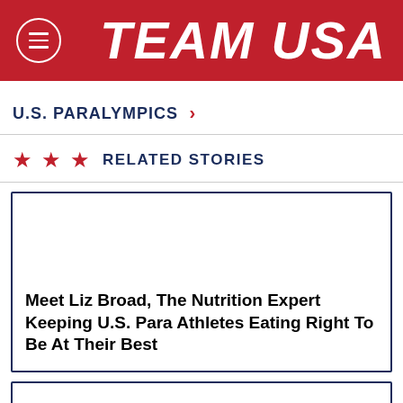TEAM USA
U.S. PARALYMPICS >
★ ★ ★  RELATED STORIES
Meet Liz Broad, The Nutrition Expert Keeping U.S. Para Athletes Eating Right To Be At Their Best